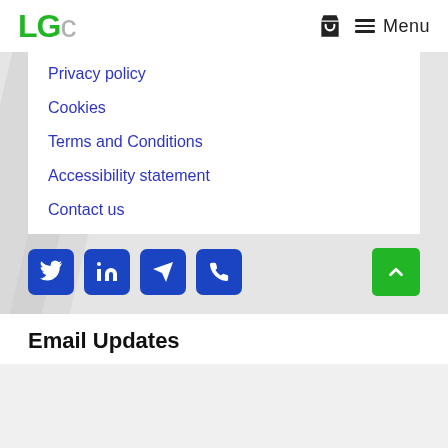LGc Menu
Privacy policy
Cookies
Terms and Conditions
Accessibility statement
Contact us
[Figure (infographic): Row of four blue square social media icon buttons: Twitter bird, LinkedIn 'in', Telegram paper plane, phone handset. Green scroll-to-top arrow button at right.]
Email Updates